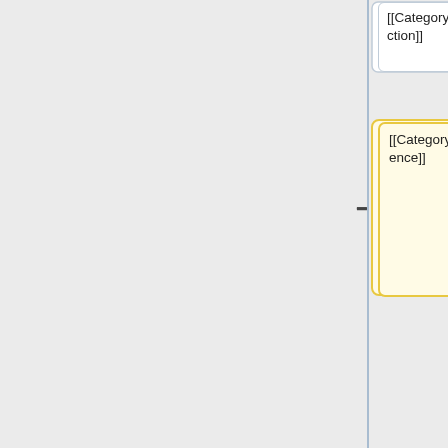[Figure (flowchart): A flowchart/diagram showing wiki category and template boxes. Left column shows [[Category:Resilience]] in a yellow-bordered box. Right column shows [[Category:Protection]] (white box, top), [[Category:Resilience]] and bold [[Category:Security]] (blue box, middle), and a large blue box with {{#set:defined by=UNISDR|defined by=UNDHA|defined by=Argentina|defined by=Australia|defined by=Barbados|defined by=Canada|defined by=Cape Verde|defined by=El (truncated). Minus and plus connector symbols between columns.]